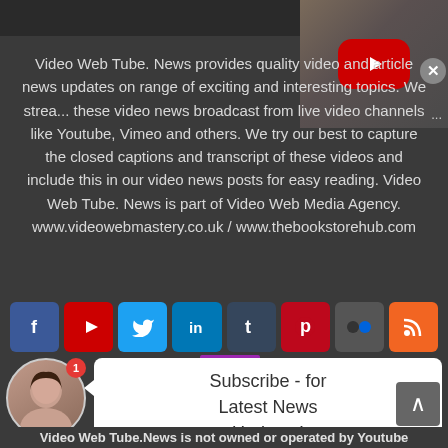[Figure (screenshot): YouTube thumbnail/player button in top-right corner with red play button on grey background]
Video Web Tube. News provides quality video and article news updates on range of exciting and interesting topics. We stream these video news broadcast from live video channels like Youtube, Vimeo and others. We try our best to capture the closed captions and transcript of these videos and include this in our video news posts for easy reading. Video Web Tube. News is part of Video Web Media Agency. www.videowebmastery.co.uk / www.thebookstorehub.com
[Figure (infographic): Social media icon bar with Facebook, YouTube, Twitter, LinkedIn, Tumblr, Pinterest, Flickr, and RSS icons]
[Figure (infographic): Subscribe callout with female avatar photo, notification badge showing 1, and speech bubble saying Subscribe - for Latest News Updates!]
Video Web Tube.News  is not owned or operated by Youtube